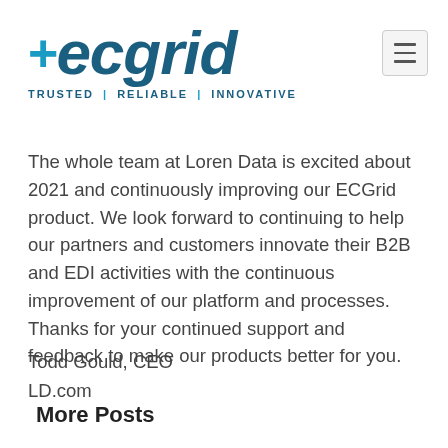[Figure (logo): ECGrid logo with plus sign and tagline TRUSTED | RELIABLE | INNOVATIVE]
The whole team at Loren Data is excited about 2021 and continuously improving our ECGrid product. We look forward to continuing to help our partners and customers innovate their B2B and EDI activities with the continuous improvement of our platform and processes. Thanks for your continued support and feedback to make our products better for you.
Todd Gould, CEO
LD.com
More Posts